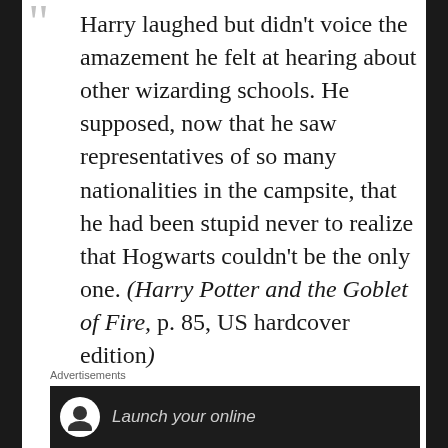Harry laughed but didn't voice the amazement he felt at hearing about other wizarding schools. He supposed, now that he saw representatives of so many nationalities in the campsite, that he had been stupid never to realize that Hogwarts couldn't be the only one. (Harry Potter and the Goblet of Fire, p. 85, US hardcover edition)
Advertisements
[Figure (other): Advertisement banner with circular logo icon and text 'Launch your online']